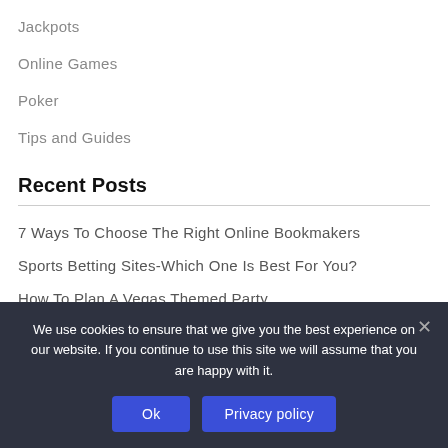Jackpots
Online Games
Poker
Tips and Guides
Recent Posts
7 Ways To Choose The Right Online Bookmakers
Sports Betting Sites-Which One Is Best For You?
How To Plan A Vegas Themed Party
We use cookies to ensure that we give you the best experience on our website. If you continue to use this site we will assume that you are happy with it.